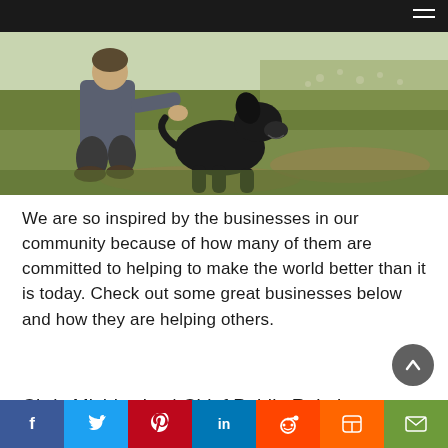[Figure (photo): Person crouching in a grassy field with a black Labrador dog beside them, outdoors on a sunny day.]
We are so inspired by the businesses in our community because of how many of them are committed to helping to make the world better than it is today. Check out some great businesses below and how they are helping others.
Chris Michlewicz | Chief Public Relations Officer
Facebook | Twitter | Pinterest | LinkedIn | Reddit | Mix | Email